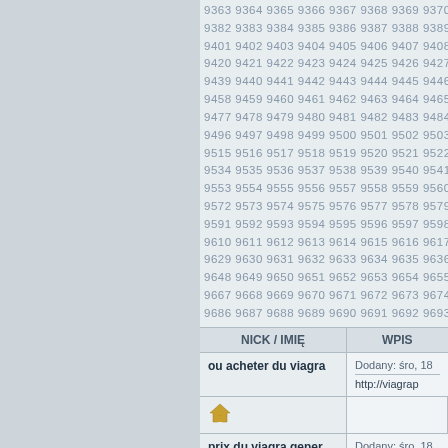9363 9364 9365 9366 9367 9368 9369 9370 937... 9382 9383 9384 9385 9386 9387 9388 9389 939... (number grid continuing)
| NICK / IMIĘ | WPIS |
| --- | --- |
| ou acheter du viagra | Dodany: śro, 18
http://viagrap... |
| (home icon) |  |
| prix du viagra gener | Dodany: śro, 18
http://achatvi... |
| (home icon) |  |